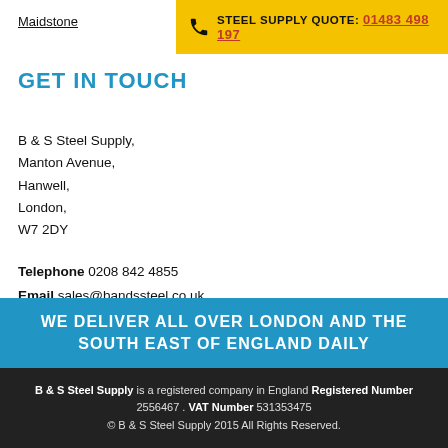Maidstone
STEEL SUPPLY QUOTE: 01483 498 197
GET IN TOUCH
B & S Steel Supply,
Manton Avenue,
Hanwell,
London,
W7 2DY
Telephone 0208 842 4855
Email sales@bandssteel.co.uk
Privacy policy
Slavery and human trafficking policy
WE DELIVER ALL OVER LONDON AND THE SOUTH EAST OF ENGLAND DAILY
B & S Steel Supply is a registered company in England Registered Number 2556467 . VAT Number 531353475
© B & S Steel Supply 2015 All Rights Reserved.